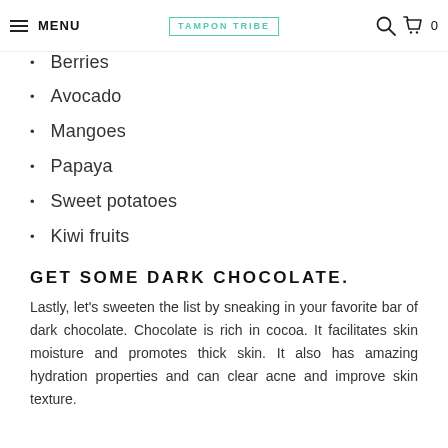MENU | TAMPON TRIBE | [search] [cart] 0
Berries
Avocado
Mangoes
Papaya
Sweet potatoes
Kiwi fruits
GET SOME DARK CHOCOLATE.
Lastly, let’s sweeten the list by sneaking in your favorite bar of dark chocolate. Chocolate is rich in cocoa. It facilitates skin moisture and promotes thick skin. It also has amazing hydration properties and can clear acne and improve skin texture.